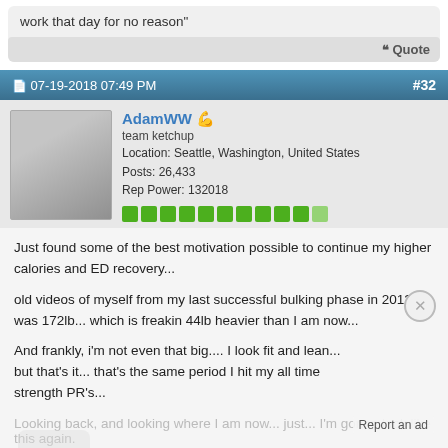work that day for no reason"
Quote
07-19-2018 07:49 PM  #32
AdamWW
team ketchup
Location: Seattle, Washington, United States
Posts: 26,433
Rep Power: 132018
Just found some of the best motivation possible to continue my higher calories and ED recovery...

old videos of myself from my last successful bulking phase in 2012... i was 172lb... which is freakin 44lb heavier than I am now...

And frankly, i'm not even that big.... I look fit and lean... but that's it... that's the same period I hit my all time strength PR's...
Looking back, and looking where I am now... just... I'm gonna look like this again.
Report an ad